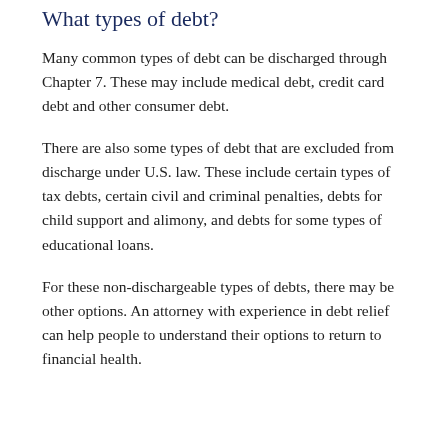What types of debt?
Many common types of debt can be discharged through Chapter 7. These may include medical debt, credit card debt and other consumer debt.
There are also some types of debt that are excluded from discharge under U.S. law. These include certain types of tax debts, certain civil and criminal penalties, debts for child support and alimony, and debts for some types of educational loans.
For these non-dischargeable types of debts, there may be other options. An attorney with experience in debt relief can help people to understand their options to return to financial health.